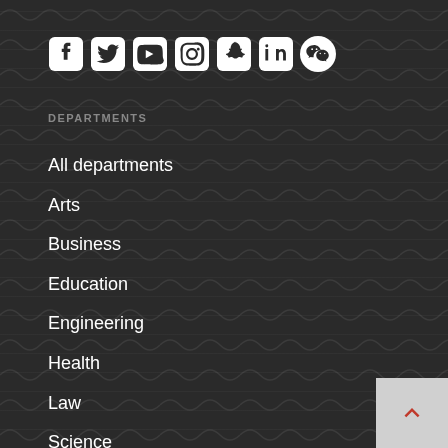[Figure (other): Social media icons row: Facebook, Twitter, YouTube, Instagram, Snapchat, LinkedIn, WeChat]
DEPARTMENTS
All departments
Arts
Business
Education
Engineering
Health
Law
Science
Service areas
LATEST
News
Events